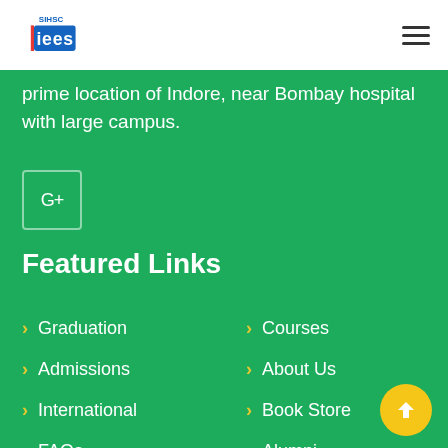[Figure (logo): SIHSC IEES college logo in blue and white]
prime location of Indore, near Bombay hospital with large campus.
[Figure (other): Google+ social media button]
Featured Links
Graduation
Courses
Admissions
About Us
International
Book Store
FAQs
Alumni